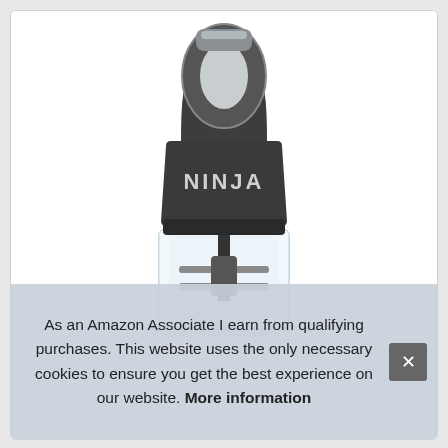[Figure (photo): A Ninja blender/food chopper product photo on white background. The device has a dark grey/charcoal motor head with a chrome carry handle loop at the top, the NINJA logo on the body, and a clear plastic bowl with blades visible at the bottom.]
As an Amazon Associate I earn from qualifying purchases. This website uses the only necessary cookies to ensure you get the best experience on our website. More information